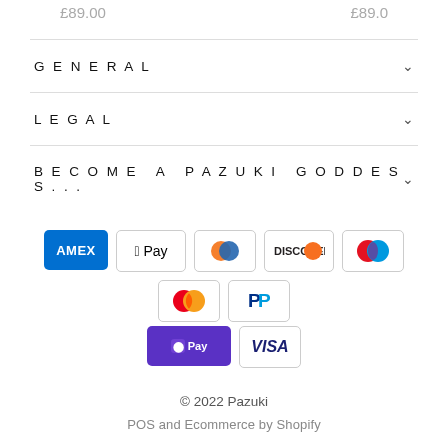£89.00   £89.0
GENERAL
LEGAL
BECOME A PAZUKI GODDESS...
[Figure (logo): Payment method icons: American Express, Apple Pay, Diners Club, Discover, Maestro, Mastercard, PayPal, Shopify Pay, Visa]
© 2022 Pazuki
POS and Ecommerce by Shopify